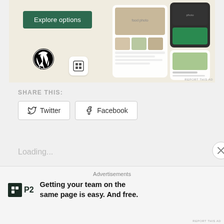[Figure (screenshot): WordPress.com advertisement banner with 'Explore options' green button, WordPress logo, Squarespace icon, and app mockup screenshots on a light beige background. 'REPORT THIS AD' text in lower right.]
SHARE THIS:
[Figure (screenshot): Two share buttons: Twitter and Facebook, each with respective social media icon, displayed as outlined rectangular buttons.]
Loading...
RELATED
[Figure (screenshot): Bottom advertisement for P2 (WordPress P2) with P2 logo box and text: 'Getting your team on the same page is easy. And free.' with 'Advertisements' label above and a close (X) circle button on the right side.]